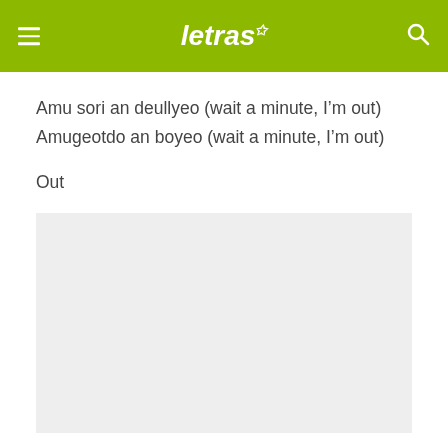letras
Amu sori an deullyeo (wait a minute, I'm out)
Amugeotdo an boyeo (wait a minute, I'm out)
Out
[Figure (other): Gray advertisement placeholder block]